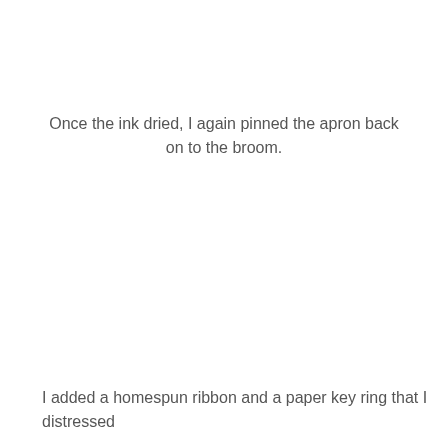Once the ink dried, I again pinned the apron back on to the broom.
I added a homespun ribbon and a paper key ring that I distressed